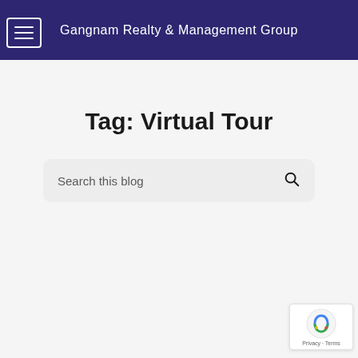Gangnam Realty & Management Group
Tag: Virtual Tour
Search this blog